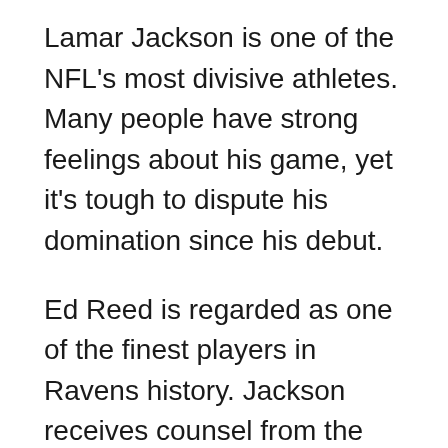Lamar Jackson is one of the NFL's most divisive athletes. Many people have strong feelings about his game, yet it's tough to dispute his domination since his debut.
Ed Reed is regarded as one of the finest players in Ravens history. Jackson receives counsel from the former Miami Hurricanes standout on a daily basis as he navigates his fledgling career. Reed encouraged the quarterback to adjust a component of his game if he wanted to stay in the NFL for a long time.
On The Ringer, the Hall of Fame safety remarked, "he said a matter that is critical to become a...